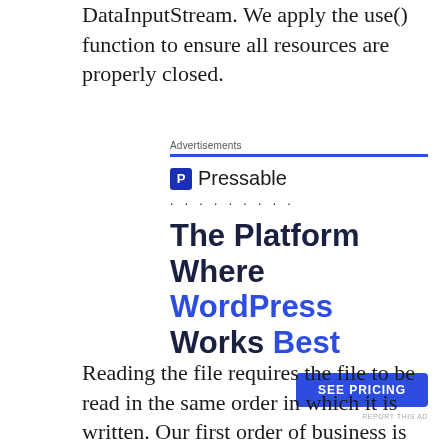DataInputStream. We apply the use() function to ensure all resources are properly closed.
[Figure (infographic): Pressable advertisement banner. Shows 'Advertisements' label with blue underline, Pressable logo with P icon, dotted line, headline 'The Platform Where WordPress Works Best' with 'WordPress Works Best' in blue, a blue 'SEE PRICING' button, and 'REPORT THIS AD' text.]
Reading the file requires the file to be read in the same order in which it is written. Our first order of business is to grab the size of the